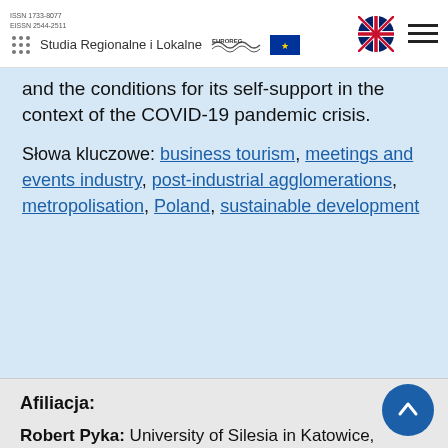Studia Regionalne i Lokalne | EUROREG
and the conditions for its self-support in the context of the COVID-19 pandemic crisis.
Słowa kluczowe: business tourism, meetings and events industry, post-industrial agglomerations, metropolisation, Poland, sustainable development
Afiliacja:
Robert Pyka: University of Silesia in Katowice, Institute of Sociology, ul. Bankowa 11, 40-007 Katowice, Poland; ORCID 0000-0001-6690-9207; robert.pyka@us.edu.pl